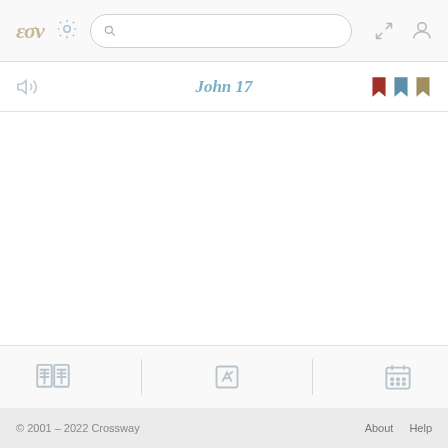[Figure (screenshot): ESV Bible app top navigation bar with logo, gear/settings icon, search box, expand icon, and user profile icon]
John 17
[Figure (screenshot): Three bookmark icons in red, blue, and gold/tan colors]
[Figure (screenshot): Bottom tab bar with book/reading icon, edit/notes icon, and calendar icon separated by dividers]
© 2001 – 2022 Crossway   About   Help